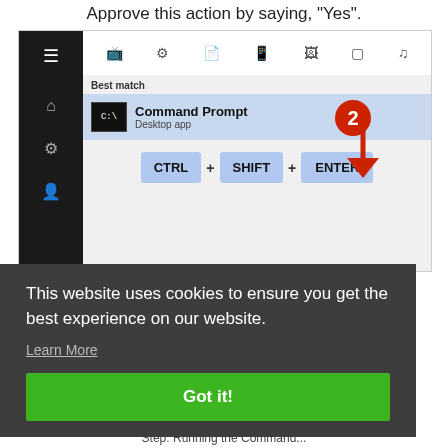Approve this action by saying, "Yes".
[Figure (screenshot): Windows Start Menu search result showing Command Prompt as best match, with a red circle numbered 2 and an arrow pointing down to a keyboard shortcut row showing CTRL + SHIFT + ENTER]
This website uses cookies to ensure you get the best experience on our website.
Learn More
Got it!
Step: Running the Command...